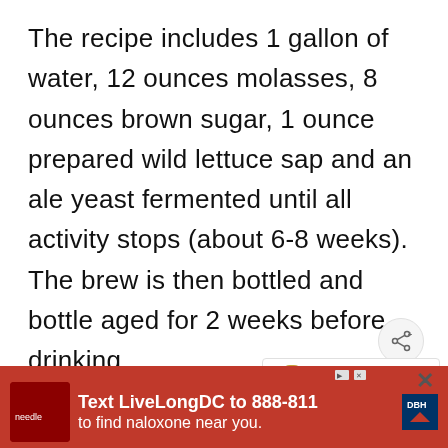The recipe includes 1 gallon of water, 12 ounces molasses, 8 ounces brown sugar, 1 ounce prepared wild lettuce sap and an ale yeast fermented until all activity stops (about 6-8 weeks).  The brew is then bottled and bottle aged for 2 weeks before drinking.
[Figure (other): Share button icon - circular button with share/network icon]
The author notes that this beer
[Figure (other): WHAT'S NEXT panel with circular image of pickled eggs jar and text 'How to Make Pickled Eggs']
to only affect some people, leading him
[Figure (other): Advertisement banner: red background, Text LiveLongDC to 888-811 to find naloxone near you. DBH logo visible.]